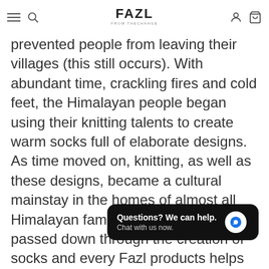FAZL — navigation bar with hamburger menu, search, logo, user, and cart icons
prevented people from leaving their villages (this still occurs). With abundant time, crackling fires and cold feet, the Himalayan people began using their knitting talents to create warm socks full of elaborate designs.  As time moved on, knitting, as well as these designs, became a cultural mainstay in the homes of almost all Himalayan families. The patterns are passed down through the creation of socks and every Fazl products helps to preserve these designs for generations to come!
Find your Size. In between sizes? Round down, as so...
All prices ar... in USD
Questions? We can help. Chat with us now.